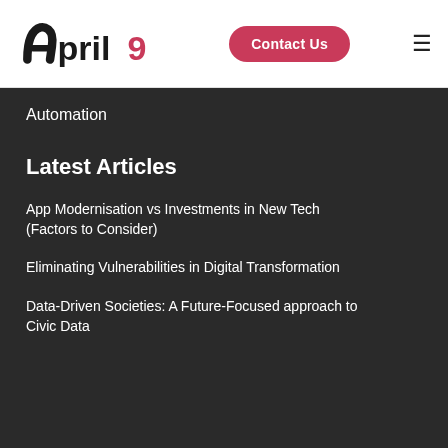April9 | Contact Us
Automation
Latest Articles
App Modernisation vs Investments in New Tech (Factors to Consider)
Eliminating Vulnerabilities in Digital Transformation
Data-Driven Societies: A Future-Focused approach to Civic Data